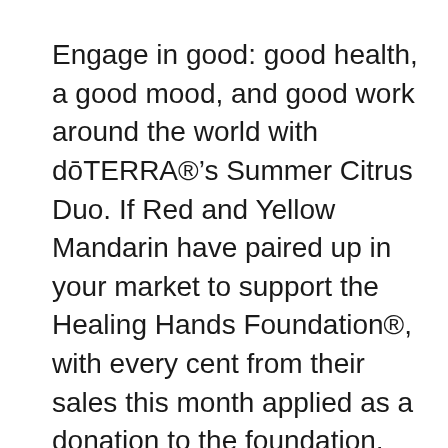Engage in good: good health, a good mood, and good work around the world with dōTERRA®'s Summer Citrus Duo. If Red and Yellow Mandarin have paired up in your market to support the Healing Hands Foundation®, with every cent from their sales this month applied as a donation to the foundation, then lean in to learn what this means! With a mission to empower people worldwide to make positive sustainable change, the Healing Hands Foundation encompasses initiatives such as disaster relief, clean water and sanitation, anti-human